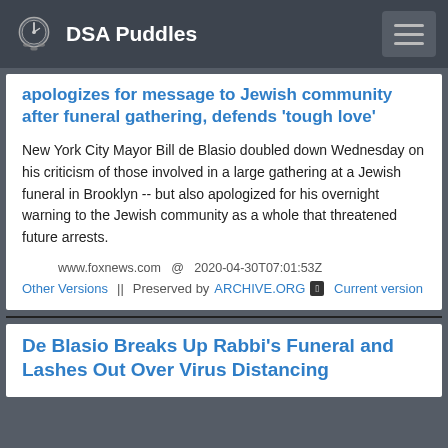DSA Puddles
apologizes for message to Jewish community after funeral gathering, defends 'tough love'
New York City Mayor Bill de Blasio doubled down Wednesday on his criticism of those involved in a large gathering at a Jewish funeral in Brooklyn -- but also apologized for his overnight warning to the Jewish community as a whole that threatened future arrests.
www.foxnews.com  @  2020-04-30T07:01:53Z
Other Versions  ||  Preserved by ARCHIVE.ORG  Current version
De Blasio Breaks Up Rabbi's Funeral and Lashes Out Over Virus Distancing